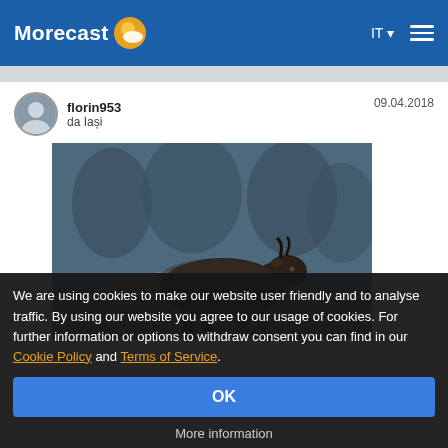Morecast IT
florin953 da Iași   09.04.2018
[Figure (photo): A dark-furred mountain goat (chamois or tahr) resting on a rocky outcrop with a blurry green forest in the background.]
We are using cookies to make our website user friendly and to analyse traffic. By using our website you agree to our usage of cookies. For further information or options to withdraw consent you can find in our Cookie Policy and Terms of Service.
OK
More information